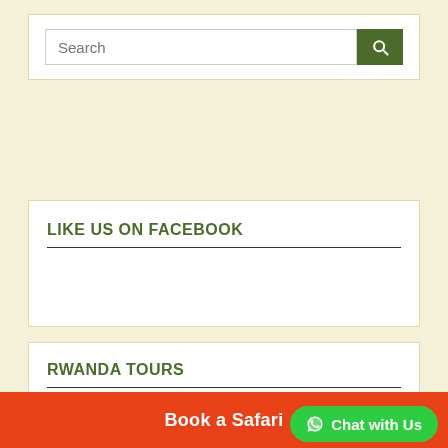Search
LIKE US ON FACEBOOK
RWANDA TOURS
10 Days Uganda and Rwanda Combined Safari
Book a Safari
Chat with Us